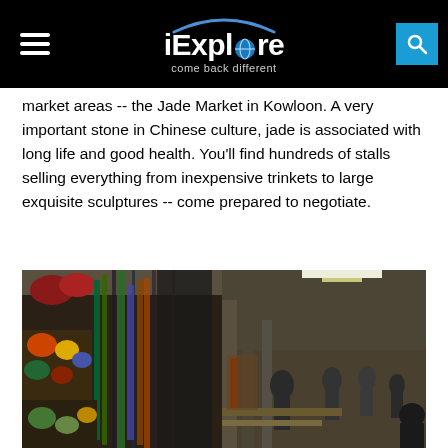iExplore — come back different
market areas -- the Jade Market in Kowloon. A very important stone in Chinese culture, jade is associated with long life and good health. You'll find hundreds of stalls selling everything from inexpensive trinkets to large exquisite sculptures -- come prepared to negotiate.
[Figure (photo): Indoor market stalls packed with colorful jade beads, necklaces, sculptures, and trinkets hanging and displayed on tables, with shoppers visible in the background aisle under bright overhead lights.]